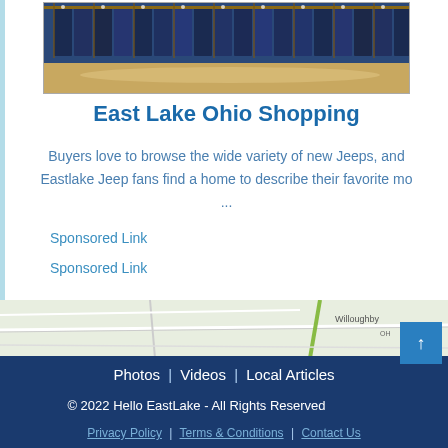[Figure (photo): Interior of a clothing/retail store showing racks of suits or jackets on display shelves with a polished floor]
East Lake Ohio Shopping
Buyers love to browse the wide variety of new Jeeps, and Eastlake Jeep fans find a home to describe their favorite mo ...
Sponsored Link
Sponsored Link
[Figure (map): Partial map showing Willoughby area roads and streets]
Photos | Videos | Local Articles
© 2022 Hello EastLake - All Rights Reserved
Privacy Policy | Terms & Conditions | Contact Us